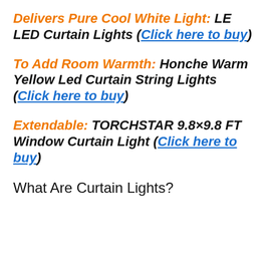Delivers Pure Cool White Light: LE LED Curtain Lights (Click here to buy)
To Add Room Warmth: Honche Warm Yellow Led Curtain String Lights (Click here to buy)
Extendable: TORCHSTAR 9.8×9.8 FT Window Curtain Light (Click here to buy)
What Are Curtain Lights?